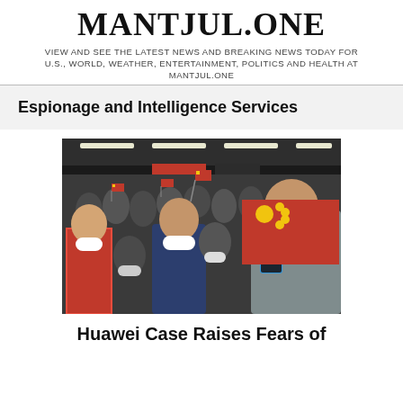MANTJUL.ONE
VIEW AND SEE THE LATEST NEWS AND BREAKING NEWS TODAY FOR U.S., WORLD, WEATHER, ENTERTAINMENT, POLITICS AND HEALTH AT MANTJUL.ONE
Espionage and Intelligence Services
[Figure (photo): Crowd of masked people waving Chinese flags and taking photos on smartphones inside a large hall. A large red Chinese flag with yellow stars is visible in the foreground right side.]
Huawei Case Raises Fears of